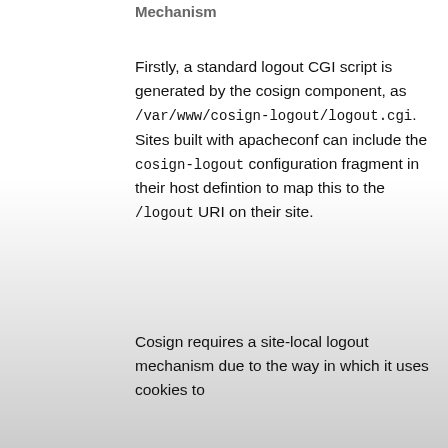Mechanism
Firstly, a standard logout CGI script is generated by the cosign component, as /var/www/cosign-logout/logout.cgi. Sites built with apacheconf can include the cosign-logout configuration fragment in their host defintion to map this to the /logout URI on their site.
Cosign requires a site-local logout mechanism due to the way in which it uses cookies to